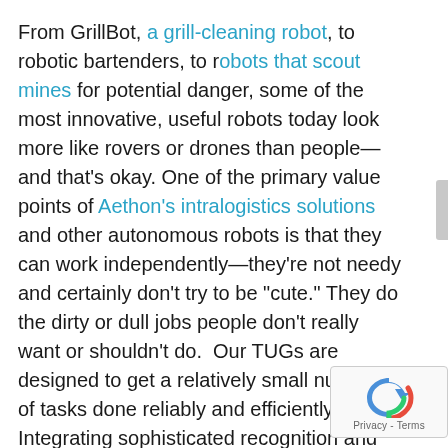From GrillBot, a grill-cleaning robot, to robotic bartenders, to robots that scout mines for potential danger, some of the most innovative, useful robots today look more like rovers or drones than people—and that's okay. One of the primary value points of Aethon's intralogistics solutions and other autonomous robots is that they can work independently—they're not needy and certainly don't try to be "cute." They do the dirty or dull jobs people don't really want or shouldn't do.  Our TUGs are designed to get a relatively small number of tasks done reliably and efficiently.  Integrating sophisticated recognition and response functions would likely draw the focus away from its function.
In an interview with the University of Cambridge's The Naked Scientist blog, Blaise